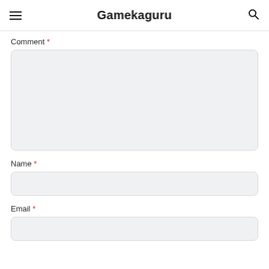Gamekaguru
Comment *
[Figure (other): Empty comment textarea input box with rounded corners and light gray background]
Name *
[Figure (other): Empty name input field with rounded corners and light gray background]
Email *
[Figure (other): Empty email input field with rounded corners and light gray background, partially visible]